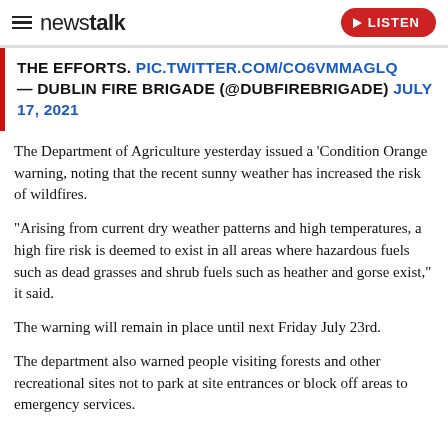newstalk | LISTEN
THE EFFORTS. PIC.TWITTER.COM/CO6VMMAGLQ — DUBLIN FIRE BRIGADE (@DUBFIREBRIGADE) JULY 17, 2021
The Department of Agriculture yesterday issued a 'Condition Orange warning, noting that the recent sunny weather has increased the risk of wildfires.
“Arising from current dry weather patterns and high temperatures, a high fire risk is deemed to exist in all areas where hazardous fuels such as dead grasses and shrub fuels such as heather and gorse exist,” it said.
The warning will remain in place until next Friday July 23rd.
The department also warned people visiting forests and other recreational sites not to park at site entrances or block off areas to emergency services.